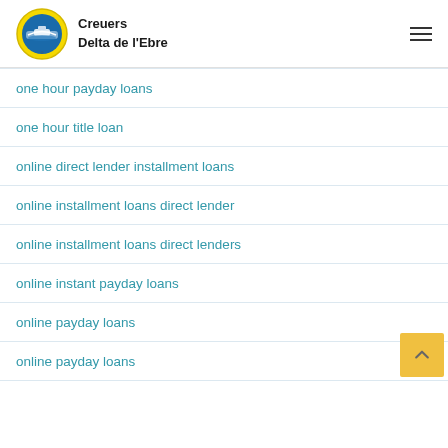Creuers Delta de l'Ebre
one hour payday loans
one hour title loan
online direct lender installment loans
online installment loans direct lender
online installment loans direct lenders
online instant payday loans
online payday loans
online payday loans